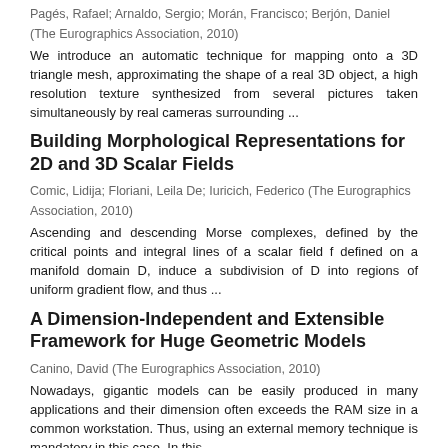Pagés, Rafael; Arnaldo, Sergio; Morán, Francisco; Berjón, Daniel (The Eurographics Association, 2010)
We introduce an automatic technique for mapping onto a 3D triangle mesh, approximating the shape of a real 3D object, a high resolution texture synthesized from several pictures taken simultaneously by real cameras surrounding ...
Building Morphological Representations for 2D and 3D Scalar Fields
Comic, Lidija; Floriani, Leila De; Iuricich, Federico (The Eurographics Association, 2010)
Ascending and descending Morse complexes, defined by the critical points and integral lines of a scalar field f defined on a manifold domain D, induce a subdivision of D into regions of uniform gradient flow, and thus ...
A Dimension-Independent and Extensible Framework for Huge Geometric Models
Canino, David (The Eurographics Association, 2010)
Nowadays, gigantic models can be easily produced in many applications and their dimension often exceeds the RAM size in a common workstation. Thus, using an external memory technique is mandatory in this case. In this ...